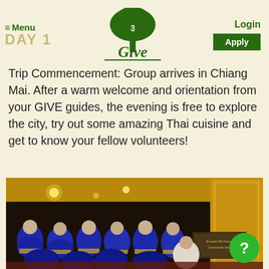≡ Menu  DAY 1  Login  Apply
[Figure (logo): GIVE volunteer organization logo — green tree above the text 'Give' in stylized green lettering]
Trip Commencement: Group arrives in Chiang Mai. After a warm welcome and orientation from your GIVE guides, the evening is free to explore the city, try out some amazing Thai cuisine and get to know your fellow volunteers!
[Figure (photo): Photo of Buddhist monks wearing blue and yellow robes seated on the floor inside a golden ornate temple, viewed from behind, with Buddha statues and candles visible in the background]